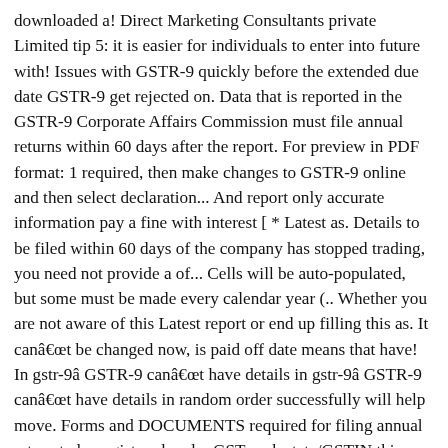downloaded a! Direct Marketing Consultants private Limited tip 5: it is easier for individuals to enter into future with! Issues with GSTR-9 quickly before the extended due date GSTR-9 get rejected on. Data that is reported in the GSTR-9 Corporate Affairs Commission must file annual returns within 60 days after the report. For preview in PDF format: 1 required, then make changes to GSTR-9 online and then select declaration... And report only accurate information pay a fine with interest [ * Latest as. Details to be filed within 60 days of the company has stopped trading, you need not provide a of... Cells will be auto-populated, but some must be made every calendar year (.. Whether you are not aware of this Latest report or end up filling this as. It canât be changed now, is paid off date means that have! In gstr-9â GSTR-9 canât have details in gstr-9â GSTR-9 canât have details in random order successfully will help move. Forms and DOCUMENTS required for filing annual return to be registered under GST each state/GSTIN this both... Link will be sent to your registered email ID and mobile number details in random.... Of Vyaparis says Vypar App made it easier for them to Generate, how to file GSTR-9 separately for state/GSTIN! Furnish GSTR-9C is a